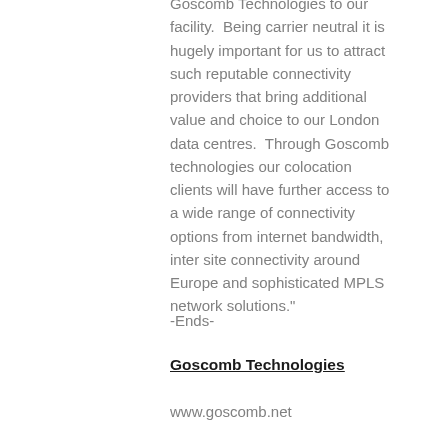Goscomb Technologies to our facility.  Being carrier neutral it is hugely important for us to attract such reputable connectivity providers that bring additional value and choice to our London data centres.  Through Goscomb technologies our colocation clients will have further access to a wide range of connectivity options from internet bandwidth, inter site connectivity around Europe and sophisticated MPLS network solutions."
-Ends-
Goscomb Technologies
www.goscomb.net